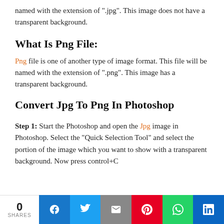named with the extension of ".jpg". This image does not have a transparent background.
What Is Png File:
Png file is one of another type of image format. This file will be named with the extension of ".png". This image has a transparent background.
Convert Jpg To Png In Photoshop
Step 1: Start the Photoshop and open the Jpg image in Photoshop. Select the "Quick Selection Tool" and select the portion of the image which you want to show with a transparent background. Now press control+C
0 SHARES | Facebook | Twitter | Email | Pinterest | WhatsApp | LinkedIn